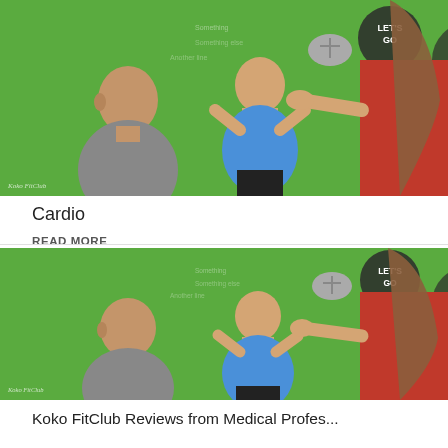[Figure (photo): Fitness class scene with three people on a green background. A bald man in gray, a woman in blue top, and a woman in red top catching/throwing what appears to be a medicine ball. 'LET'S GO' signage visible in background.]
Cardio
READ MORE
[Figure (photo): Same fitness class scene repeated: three people on a green background with 'LET'S GO' signage. A bald man in gray, a woman in blue top smiling, and a woman in red catching/throwing a medicine ball.]
Koko FitClub Reviews from Medical Profes...